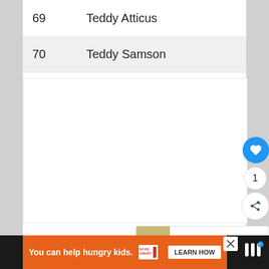| Rank | Name |
| --- | --- |
| 69 | Teddy Atticus |
| 70 | Teddy Samson |
[Figure (screenshot): Empty white content card area with three gray dots indicating a loading carousel or slider]
[Figure (infographic): Heart/like button (blue circle), count of 1, and share button (circular white with share icon)]
[Figure (infographic): What's Next promotional card with thumbnail image and text 'What to Do if You...']
[Figure (infographic): Advertisement banner: 'You can help hungry kids.' with No Kid Hungry logo and Learn How button]